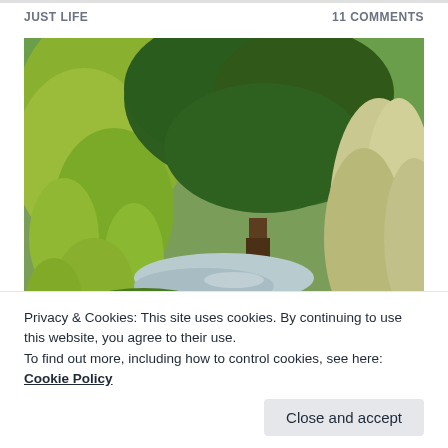JUST LIFE
11 COMMENTS
[Figure (photo): Outdoor garden/park scene with lush green trees including a weeping tree on the left, a large canopy tree in the center-right, ornamental grasses on the far right, and a small pond or water feature visible in the background.]
Privacy & Cookies: This site uses cookies. By continuing to use this website, you agree to their use.
To find out more, including how to control cookies, see here: Cookie Policy
Close and accept